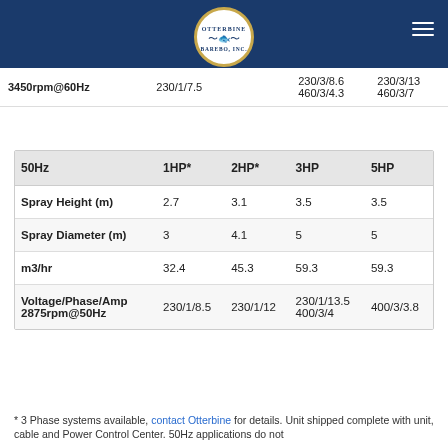Otterbine Barebo Inc. logo and navigation
| 3450rpm@60Hz | 230/1/7.5 |  | 230/3/8.6  460/3/4.3 | 230/3/13  460/3/7 |
| --- | --- | --- | --- | --- |
| 50Hz | 1HP* | 2HP* | 3HP | 5HP |
| --- | --- | --- | --- | --- |
| Spray Height (m) | 2.7 | 3.1 | 3.5 | 3.5 |
| Spray Diameter (m) | 3 | 4.1 | 5 | 5 |
| m3/hr | 32.4 | 45.3 | 59.3 | 59.3 |
| Voltage/Phase/Amp 2875rpm@50Hz | 230/1/8.5 | 230/1/12 | 230/1/13.5  400/3/4 | 400/3/3.8 |
* 3 Phase systems available, contact Otterbine for details. Unit shipped complete with unit, cable and Power Control Center. 50Hz applications do not